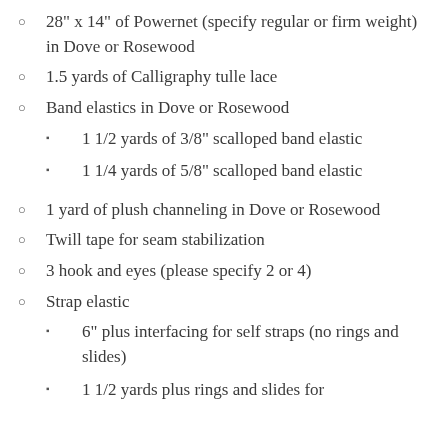28" x 14" of Powernet (specify regular or firm weight) in Dove or Rosewood
1.5 yards of Calligraphy tulle lace
Band elastics in Dove or Rosewood
1 1/2 yards of 3/8" scalloped band elastic
1 1/4 yards of 5/8" scalloped band elastic
1 yard of plush channeling in Dove or Rosewood
Twill tape for seam stabilization
3 hook and eyes (please specify 2 or 4)
Strap elastic
6" plus interfacing for self straps (no rings and slides)
1 1/2 yards plus rings and slides for